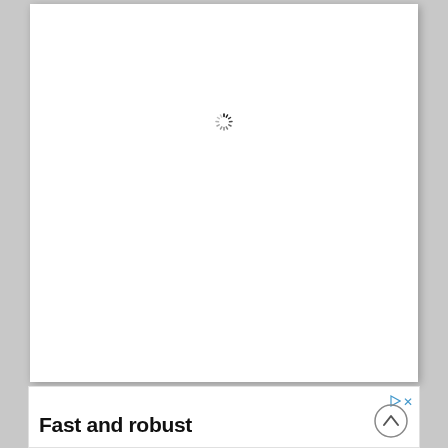[Figure (other): Loading spinner icon centered in a white document page area]
Fast and robust